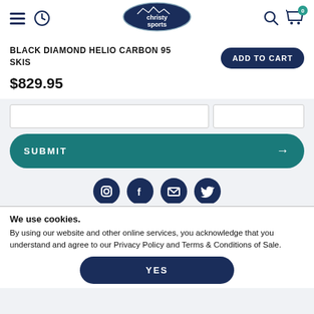[Figure (logo): Christy Sports oval logo with mountain silhouette, dark navy background, white text]
BLACK DIAMOND HELIO CARBON 95 SKIS
$829.95
ADD TO CART
SUBMIT
[Figure (illustration): Partial social media icons row: Instagram, Facebook, email, Twitter — dark navy circles]
We use cookies.
By using our website and other online services, you acknowledge that you understand and agree to our Privacy Policy and Terms & Conditions of Sale.
YES